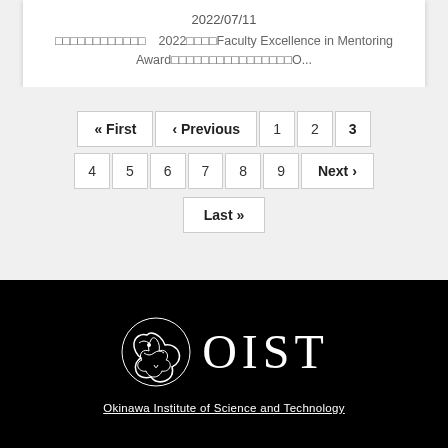2022/07/11 □□□□□□□□□□□□ 2022□□□□Faculty Excellence in Mentoring Award□□□□□□□□□□□□□□□□O...
« First ‹ Previous 1 2 3 4 5 6 7 8 9 Next › Last »
[Figure (logo): OIST (Okinawa Institute of Science and Technology) logo with dragon emblem on black background]
Okinawa Institute of Science and Technology